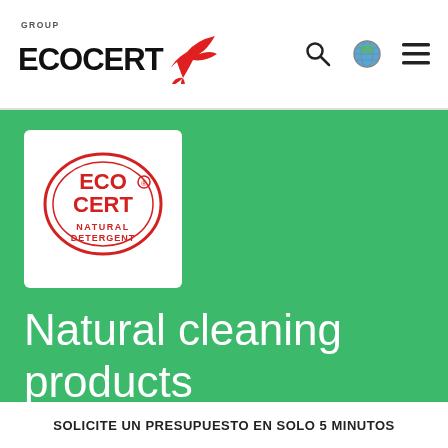[Figure (logo): Ecocert Group logo with red bird/swallow and bold ECOCERT text]
[Figure (illustration): Navigation icons: search magnifier, globe, hamburger menu]
[Figure (logo): Ecocert NATURAL DETERGENT round red certification badge on white square background]
Natural cleaning products
Ecocert natural cleaning products standard
Natural detergents
SOLICITE UN PRESUPUESTO EN SOLO 5 MINUTOS